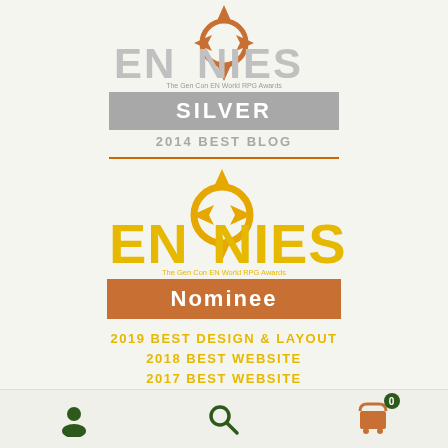[Figure (logo): ENnies Silver award badge for 2014 Best Blog - The Gen Con EN World RPG Awards]
[Figure (logo): ENnies Nominee award badge - The Gen Con EN World RPG Awards]
2019 BEST DESIGN & LAYOUT
2018 BEST WEBSITE
2017 BEST WEBSITE
2016 PRODUCT OF THE YEAR
2016 BEST WEBSITE
2016 BEST WRITING
2016 BEST ELECTRONIC BOOK
[Figure (infographic): Bottom navigation bar with user icon, search icon, and cart icon with badge showing 0]